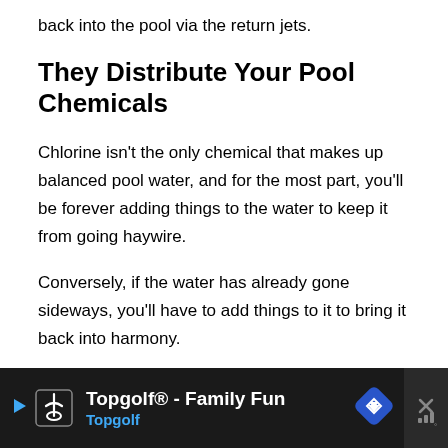back into the pool via the return jets.
They Distribute Your Pool Chemicals
Chlorine isn't the only chemical that makes up balanced pool water, and for the most part, you'll be forever adding things to the water to keep it from going haywire.
Conversely, if the water has already gone sideways, you'll have to add things to it to bring it back into harmony.
Water on its own is still. Adding chemicals to the pool...
[Figure (other): Advertisement banner for Topgolf - Family Fun, showing Topgolf logo, navigation arrow icon, and close button on dark background]